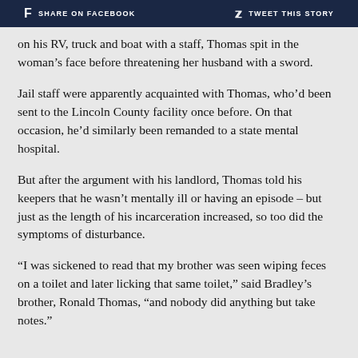f SHARE ON FACEBOOK   🐦 TWEET THIS STORY
on his RV, truck and boat with a staff, Thomas spit in the woman’s face before threatening her husband with a sword.
Jail staff were apparently acquainted with Thomas, who’d been sent to the Lincoln County facility once before. On that occasion, he’d similarly been remanded to a state mental hospital.
But after the argument with his landlord, Thomas told his keepers that he wasn’t mentally ill or having an episode – but just as the length of his incarceration increased, so too did the symptoms of disturbance.
“I was sickened to read that my brother was seen wiping feces on a toilet and later licking that same toilet,” said Bradley’s brother, Ronald Thomas, “and nobody did anything but take notes.”